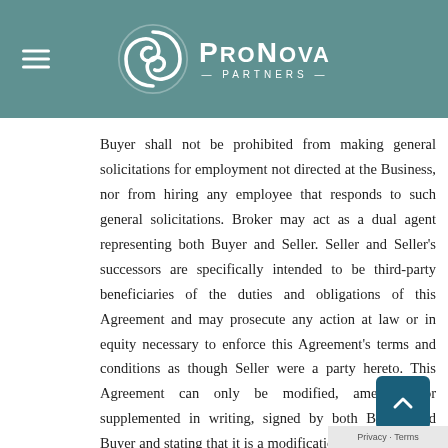ProNova Partners
Buyer shall not be prohibited from making general solicitations for employment not directed at the Business, nor from hiring any employee that responds to such general solicitations. Broker may act as a dual agent representing both Buyer and Seller. Seller and Seller's successors are specifically intended to be third-party beneficiaries of the duties and obligations of this Agreement and may prosecute any action at law or in equity necessary to enforce this Agreement's terms and conditions as though Seller were a party hereto. This Agreement can only be modified, amended, or supplemented in writing, signed by both Broker and Buyer and stating that it is a modification, amendment, or supplement to this Agreement. Waiver of any breach of this Agreement shall not be a waiver of any subsequent breach. This Agreement supersedes all prior and contemporaneous agreements and understandings between the Buyer and Broker with